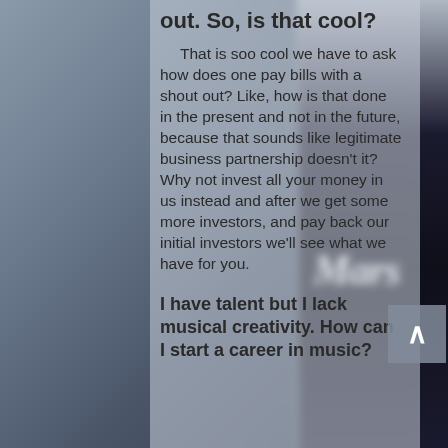out. So, is that cool?
That is soo cool we have to ask how does one pay bills with a shout out? Like, how is that done in the present and not in the future, because that sounds like legitimate business partnership doesn't it? Why not invest all your money in us instead and after we get some more investors, and pay back our initial investors we'll see what we have for you.
I have talent but I lack musical creativity. How can I start a career in music?